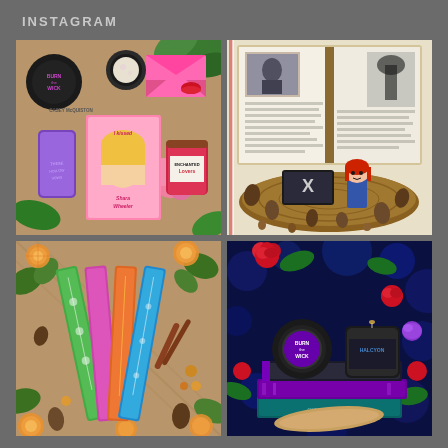INSTAGRAM
[Figure (photo): Flatlay of Casey McQuiston book 'I Kissed Shara Wheeler', pink envelope, Burn Wick candle, Enchanted Lovers candle, and a phone case with purple cover, surrounded by pink flowers and green foliage]
[Figure (photo): X-Files themed diorama with open book/journal, Funko Pop red-haired figure, miniature TV showing X logo, pine cones, and rustic wood slice base]
[Figure (photo): Colorful decorative bookmarks/book spines in green, pink, orange/red, and blue with floral patterns, surrounded by dried orange slices, pine cones, cinnamon sticks, and ivy leaves]
[Figure (photo): Burn Wick candle and another candle placed on stacked books with purple and teal covers, decorated with red roses and green leaves on dark blue bokeh background]